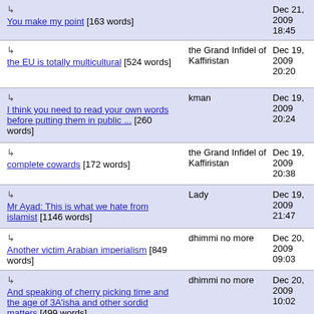| Title | Author | Date |
| --- | --- | --- |
| ↳ You make my point [163 words] |  | Dec 21, 2009 18:45 |
| ↳ the EU is totally multicultural [524 words] | the Grand Infidel of Kaffiristan | Dec 19, 2009 20:20 |
| ↳ I think you need to read your own words before putting them in public ... [260 words] | kman | Dec 19, 2009 20:24 |
| ↳ complete cowards [172 words] | the Grand Infidel of Kaffiristan | Dec 19, 2009 20:38 |
| ↳ Mr Ayad: This is what we hate from islamist [1146 words] | Lady | Dec 19, 2009 21:47 |
| ↳ Another victim Arabian imperialism [849 words] | dhimmi no more | Dec 20, 2009 09:03 |
| ↳ And speaking of cherry picking time and the age of 3A'isha and other sordid matters [499 words] | dhimmi no more | Dec 20, 2009 10:02 |
| ↳ Miserable? [103 words] | Jeff | Dec 20, 2009 11:15 |